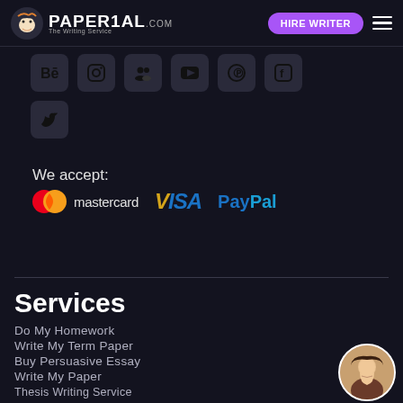PAPERIAL.com — Hire Writer
[Figure (other): Social media icon grid: Behance, Instagram, Facebook Groups, YouTube, Pinterest, Facebook, Twitter]
We accept:
[Figure (other): Payment logos: Mastercard, VISA, PayPal]
Services
Do My Homework
Write My Term Paper
Buy Persuasive Essay
Write My Paper
Thesis Writing Service
Write My Personal Statement